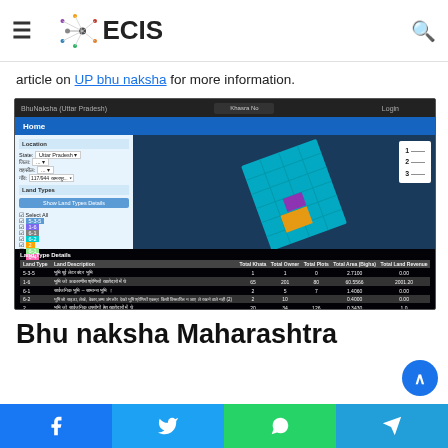ECIS
article on UP bhu naksha for more information.
[Figure (screenshot): Screenshot of BhuNaksha (Uttar Pradesh) web portal showing a land map with colored parcels, a location panel on the left with State: Uttar Pradesh dropdowns, and a Land Type Details table at the bottom.]
Bhu naksha Maharashtra
Facebook  Twitter  WhatsApp  Telegram